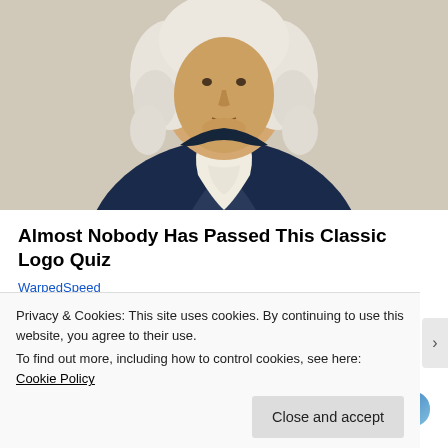[Figure (illustration): Digital illustration of a historical figure in a navy coat with white ruffled cravat and white powdered wig, cropped at chest level, shown from below chin upward.]
Almost Nobody Has Passed This Classic Logo Quiz
WarpedSpeed
Share this:
Privacy & Cookies: This site uses cookies. By continuing to use this website, you agree to their use.
To find out more, including how to control cookies, see here: Cookie Policy
Close and accept